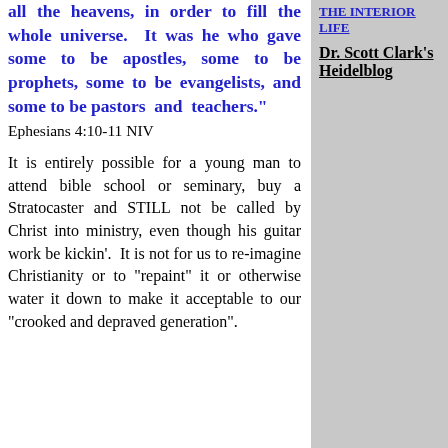all the heavens, in order to fill the whole universe.  It was he who gave some to be apostles, some to be prophets, some to be evangelists, and some to be pastors  and  teachers."
Ephesians 4:10-11 NIV
It is entirely possible for a young man to attend bible school or seminary, buy a Stratocaster and STILL not be called by Christ into ministry, even though his guitar work be kickin'.  It is not for us to re-imagine Christianity or to "repaint" it or otherwise water it down to make it acceptable to our "crooked and depraved generation".
THE INTERIOR LIFE
Dr. Scott Clark's Heidelblog